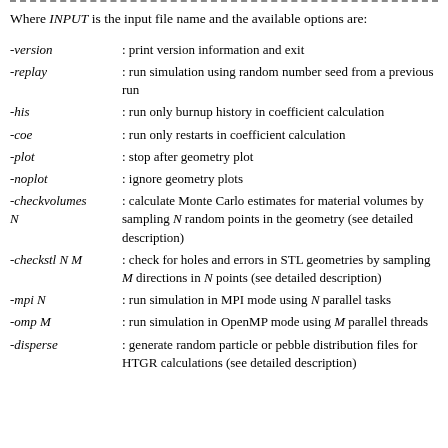Where INPUT is the input file name and the available options are:
-version : print version information and exit
-replay : run simulation using random number seed from a previous run
-his : run only burnup history in coefficient calculation
-coe : run only restarts in coefficient calculation
-plot : stop after geometry plot
-noplot : ignore geometry plots
-checkvolumes N : calculate Monte Carlo estimates for material volumes by sampling N random points in the geometry (see detailed description)
-checkstl N M : check for holes and errors in STL geometries by sampling M directions in N points (see detailed description)
-mpi N : run simulation in MPI mode using N parallel tasks
-omp M : run simulation in OpenMP mode using M parallel threads
-disperse : generate random particle or pebble distribution files for HTGR calculations (see detailed description)